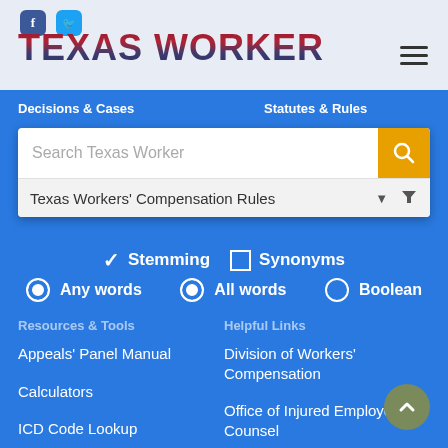[Figure (logo): Texas Worker logo with American flag color styling]
Decisions & Cases   Statutes & Rules
[Figure (screenshot): Search box with 'Search Texas Worker' placeholder, yellow search button, dropdown showing 'Texas Workers' Compensation Rules', and filter icon]
✓ Stemming  ☐ Synonyms
● Any words  ● All words  ○ Boolean
Resources & Tools
Helpful Links
Appeals' Panel Manual
Division of Workers' Compensation
Calculators
Office of Injured Employee Counsel
ICD Code Lookup
Kids' Chance of Texas
National Provider Lookup